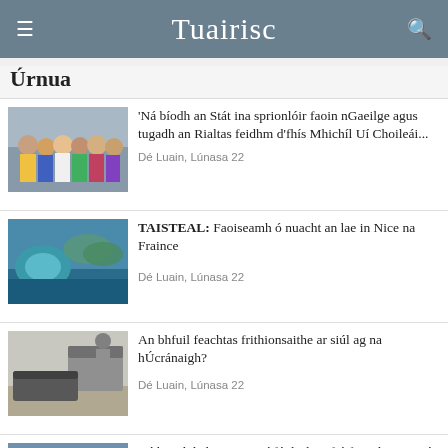Tuairisc
Úrnua
[Figure (photo): Group of women posing outdoors in colorful dresses]
'Ná bíodh an Stát ina sprionlóir faoin nGaeilge agus tugadh an Rialtas feidhm d'fhís Mhichíl Uí Choileái...
Dé Luain, Lúnasa 22
[Figure (photo): Aerial view of Nice, France coastline]
TAISTEAL: Faoiseamh ó nuacht an lae in Nice na Fraince
Dé Luain, Lúnasa 22
[Figure (photo): Military vehicle near an airplane on tarmac]
An bhfuil feachtas frithionsaithe ar siúl ag na hÚcránaigh?
Dé Luain, Lúnasa 22
[Figure (photo): Politicians in suits, pointing and speaking]
Ná bac dul chun cinn, ní féidir linn fiú fanacht mar atá?
Dé Luain, Lúnasa 22